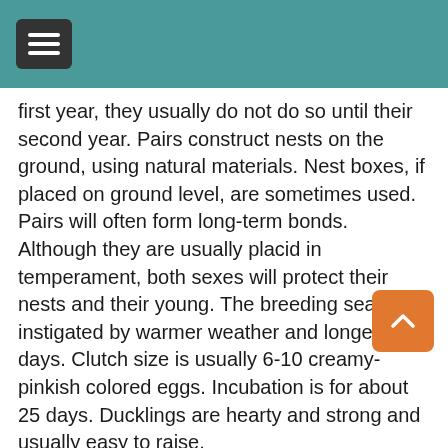[Navigation bar with hamburger menu]
first year, they usually do not do so until their second year. Pairs construct nests on the ground, using natural materials. Nest boxes, if placed on ground level, are sometimes used. Pairs will often form long-term bonds. Although they are usually placid in temperament, both sexes will protect their nests and their young. The breeding season is instigated by warmer weather and longer days. Clutch size is usually 6-10 creamy-pinkish colored eggs. Incubation is for about 25 days. Ducklings are hearty and strong and usually easy to raise.
Lifespan: Silver Teal can live up to 15-20 years in a captive environment.
Size: Silver Teal is about the size of a Wood Duck, usually between 17 and 19 inches in total length.
Housing Requirements: Silver Teal are hardy and easy